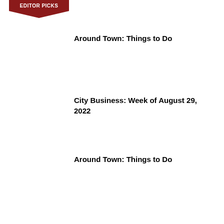[Figure (logo): Editor Picks badge — dark red rectangle with white bold text 'EDITOR PICKS' and a downward-pointing triangle arrow beneath it]
Around Town: Things to Do
City Business: Week of August 29, 2022
Around Town: Things to Do